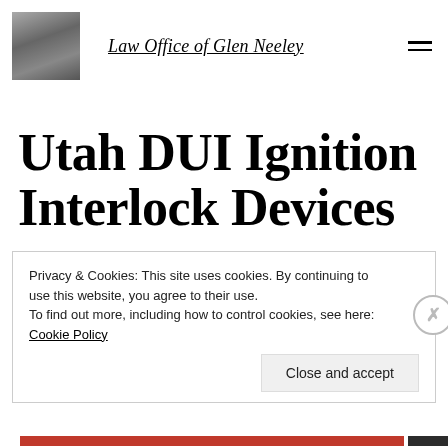Law Office of Glen Neeley
Utah DUI Ignition Interlock Devices
Privacy & Cookies: This site uses cookies. By continuing to use this website, you agree to their use.
To find out more, including how to control cookies, see here: Cookie Policy
Close and accept